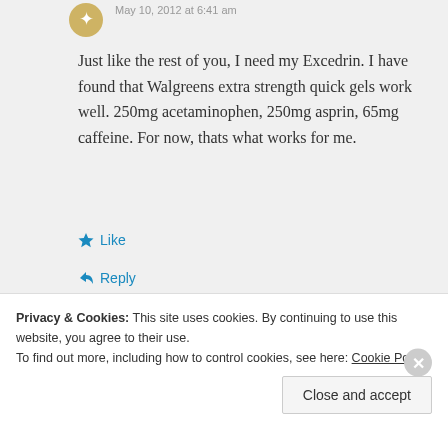May 10, 2012 at 6:41 am
Just like the rest of you, I need my Excedrin. I have found that Walgreens extra strength quick gels work well. 250mg acetaminophen, 250mg asprin, 65mg caffeine. For now, thats what works for me.
Like
Reply
Privacy & Cookies: This site uses cookies. By continuing to use this website, you agree to their use. To find out more, including how to control cookies, see here: Cookie Policy
Close and accept